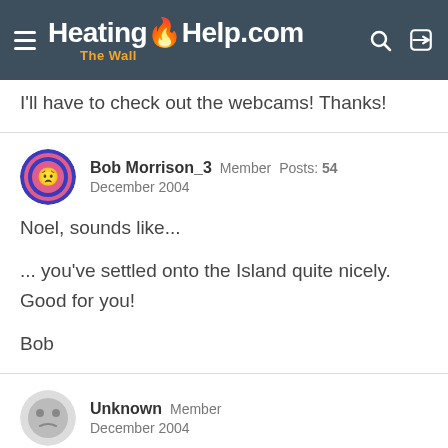HeatingHelp.com The Wall
I'll have to check out the webcams! Thanks!
Bob Morrison_3  Member  Posts: 54  December 2004
Noel, sounds like...

... you've settled onto the Island quite nicely. Good for you!

Bob
Unknown  Member  December 2004